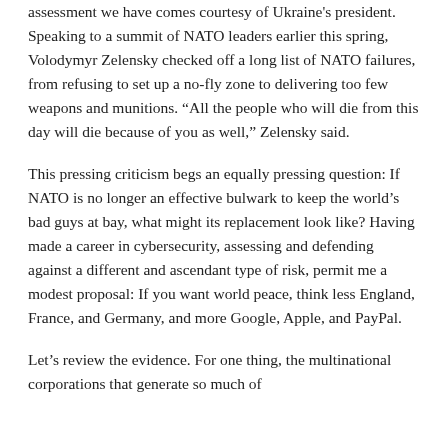assessment we have comes courtesy of Ukraine's president. Speaking to a summit of NATO leaders earlier this spring, Volodymyr Zelensky checked off a long list of NATO failures, from refusing to set up a no-fly zone to delivering too few weapons and munitions. “All the people who will die from this day will die because of you as well,” Zelensky said.
This pressing criticism begs an equally pressing question: If NATO is no longer an effective bulwark to keep the world’s bad guys at bay, what might its replacement look like? Having made a career in cybersecurity, assessing and defending against a different and ascendant type of risk, permit me a modest proposal: If you want world peace, think less England, France, and Germany, and more Google, Apple, and PayPal.
Let’s review the evidence. For one thing, the multinational corporations that generate so much of